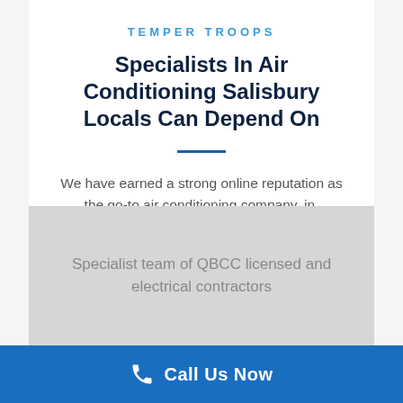TEMPER TROOPS
Specialists In Air Conditioning Salisbury Locals Can Depend On
We have earned a strong online reputation as the go-to air conditioning company, in  Salisbury. We provide:
Specialist team of QBCC licensed and electrical contractors
Call Us Now